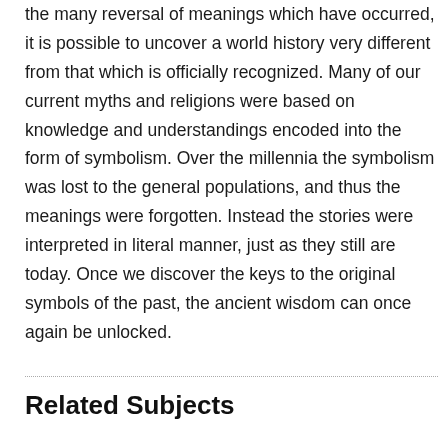the many reversal of meanings which have occurred, it is possible to uncover a world history very different from that which is officially recognized. Many of our current myths and religions were based on knowledge and understandings encoded into the form of symbolism. Over the millennia the symbolism was lost to the general populations, and thus the meanings were forgotten. Instead the stories were interpreted in literal manner, just as they still are today. Once we discover the keys to the original symbols of the past, the ancient wisdom can once again be unlocked.
Related Subjects